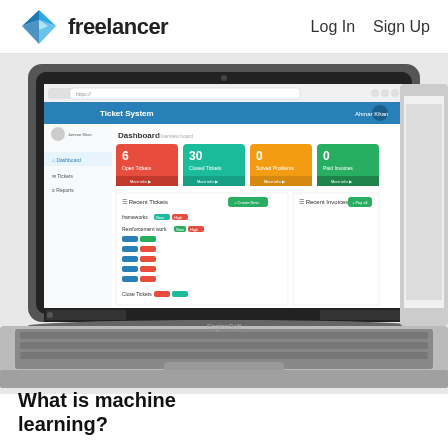freelancer   Log In   Sign Up
[Figure (screenshot): Screenshot of a laptop computer showing a Ticket System dashboard web application open in a browser. The dashboard shows stats including Open Tickets (6, red), Closed Tickets (30, blue), Solved Problems (0, orange), Paid Invoices (0, green). Below are sections for Recent Tickets and Recent Invoices with colored tag buttons. The laptop brand shown is EngineSoft.]
What is machine learning?